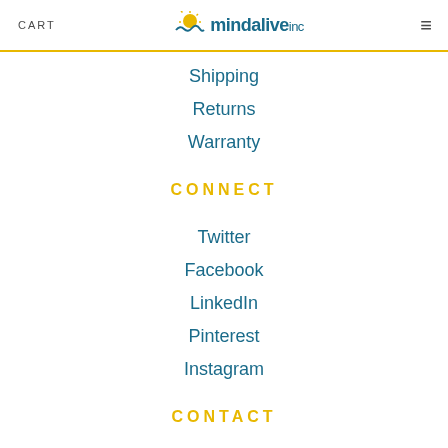CART | mindalive inc | ☰
Shipping
Returns
Warranty
CONNECT
Twitter
Facebook
LinkedIn
Pinterest
Instagram
CONTACT
6716 - 75 Street NW
Edmonton, Alberta
T6E 6T9 Canada
1 800 661 MIND